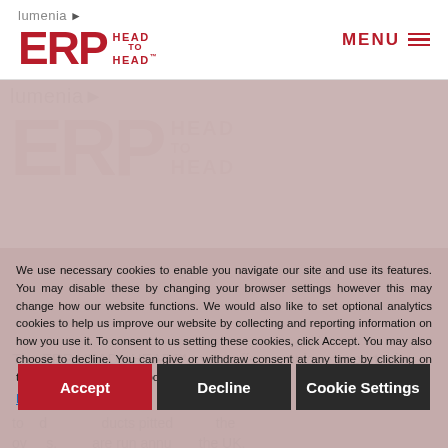lumenia ERP HEAD TO HEAD™  MENU ☰
We use necessary cookies to enable you navigate our site and use its features. You may disable these by changing your browser settings however this may change how our website functions. We would also like to set optional analytics cookies to help us improve our website by collecting and reporting information on how you use it. To consent to us setting these cookies, click Accept. You may also choose to decline. You can give or withdraw consent at any time by clicking on the cookie settings at the bottom right of our website.
Read More
The ERP HEADtoHEAD™ event offers a unique opportunity to ...d ...ducts pitted over... ...s. ...are run annu... ...the UK.
Accept
Decline
Cookie Settings